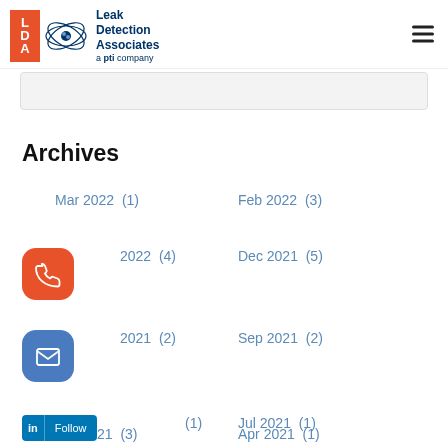[Figure (logo): Leak Detection Associates logo with LDA orange square, atom graphic, company name and 'a pti company' tagline]
Archives
Mar 2022  (1)
Feb 2022  (3)
Jan 2022  (4)
Dec 2021  (5)
Nov 2021  (2)
Sep 2021  (2)
Aug 2021  (1)
Jul 2021  (1)
Jun 2021  (3)
Apr 2021  (1)